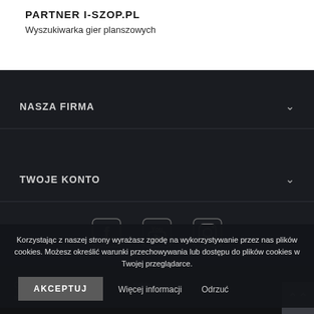PARTNER I-SZOP.PL
Wyszukiwarka gier planszowych
NASZA FIRMA
TWOJE KONTO
[Figure (illustration): Three social media icons: Facebook, YouTube, Instagram]
Copyright ... All rights reserved.
Korzystając z naszej strony wyrażasz zgodę na wykorzystywanie przez nas plików cookies. Możesz określić warunki przechowywania lub dostępu do plików cookies w Twojej przeglądarce.
AKCEPTUJ | Więcej informacji | Odrzuć